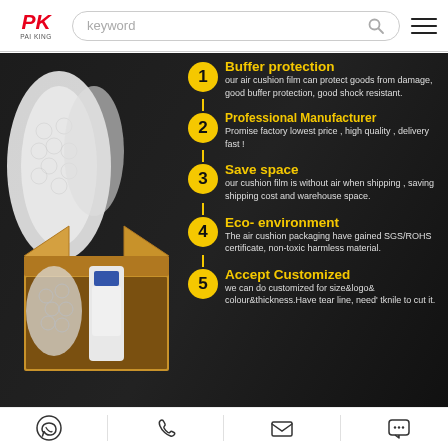PAI KING | keyword [search] [menu]
[Figure (infographic): Air cushion film product infographic on dark background. Left side shows product photo with bubble wrap rolls and an open cardboard box with packaged bottle. Right side shows 5 numbered yellow circle feature points connected by a vertical yellow line: 1. Buffer protection, 2. Professional Manufacturer, 3. Save space, 4. Eco-environment, 5. Accept Customized.]
WhatsApp | Phone | Email | Chat icons